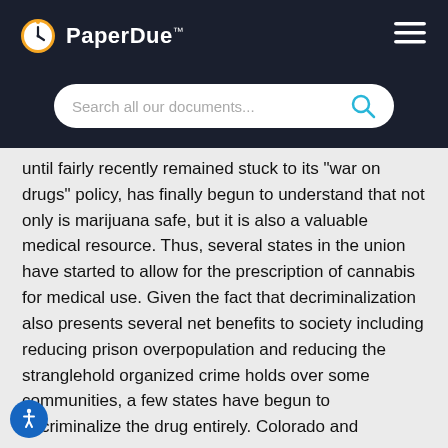PaperDue™
until fairly recently remained stuck to its "war on drugs" policy, has finally begun to understand that not only is marijuana safe, but it is also a valuable medical resource. Thus, several states in the union have started to allow for the prescription of cannabis for medical use. Given the fact that decriminalization also presents several net benefits to society including reducing prison overpopulation and reducing the stranglehold organized crime holds over some communities, a few states have begun to decriminalize the drug entirely. Colorado and